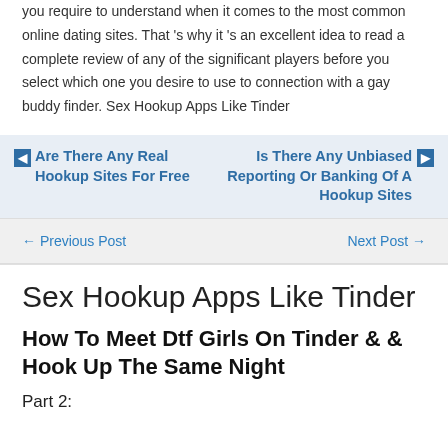you require to understand when it comes to the most common online dating sites. That 's why it 's an excellent idea to read a complete review of any of the significant players before you select which one you desire to use to connection with a gay buddy finder. Sex Hookup Apps Like Tinder
◀ Are There Any Real Hookup Sites For Free   Is There Any Unbiased Reporting Or Banking Of A Hookup Sites ▶
← Previous Post   Next Post →
Sex Hookup Apps Like Tinder
How To Meet Dtf Girls On Tinder & & Hook Up The Same Night
Part 2: